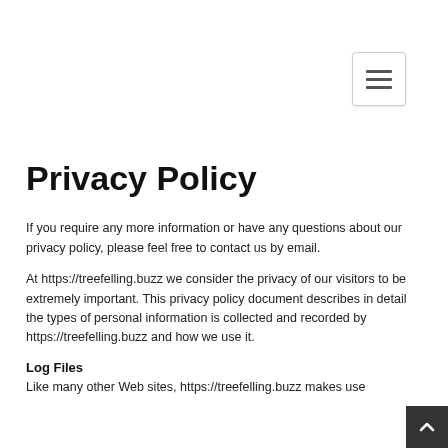[Figure (other): Hamburger menu button in top right corner]
Privacy Policy
If you require any more information or have any questions about our privacy policy, please feel free to contact us by email.
At https://treefelling.buzz we consider the privacy of our visitors to be extremely important. This privacy policy document describes in detail the types of personal information is collected and recorded by https://treefelling.buzz and how we use it.
Log Files
Like many other Web sites, https://treefelling.buzz makes use